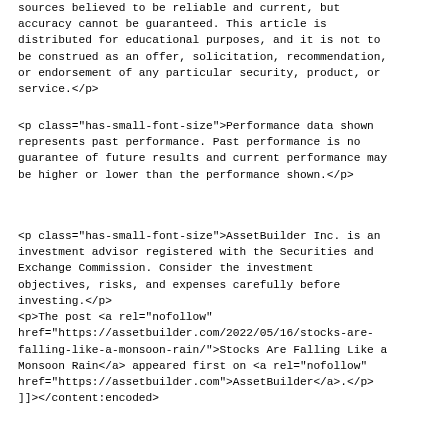sources believed to be reliable and current, but accuracy cannot be guaranteed. This article is distributed for educational purposes, and it is not to be construed as an offer, solicitation, recommendation, or endorsement of any particular security, product, or service.</p>
<p class="has-small-font-size">Performance data shown represents past performance. Past performance is no guarantee of future results and current performance may be higher or lower than the performance shown.</p>
<p class="has-small-font-size">AssetBuilder Inc. is an investment advisor registered with the Securities and Exchange Commission. Consider the investment objectives, risks, and expenses carefully before investing.</p>
<p>The post <a rel="nofollow" href="https://assetbuilder.com/2022/05/16/stocks-are-falling-like-a-monsoon-rain/">Stocks Are Falling Like a Monsoon Rain</a> appeared first on <a rel="nofollow" href="https://assetbuilder.com">AssetBuilder</a>.</p>
]]></content:encoded>